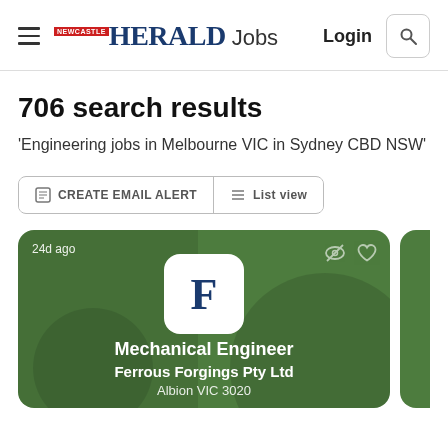Newcastle Herald Jobs — Login
706 search results
'Engineering jobs in Melbourne VIC in Sydney CBD NSW'
CREATE EMAIL ALERT   List view
[Figure (screenshot): Job listing card for Mechanical Engineer at Ferrous Forgings Pty Ltd, Albion VIC 3020, posted 24d ago, on green background with company logo 'F']
Mechanical Engineer
Ferrous Forgings Pty Ltd
Albion VIC 3020